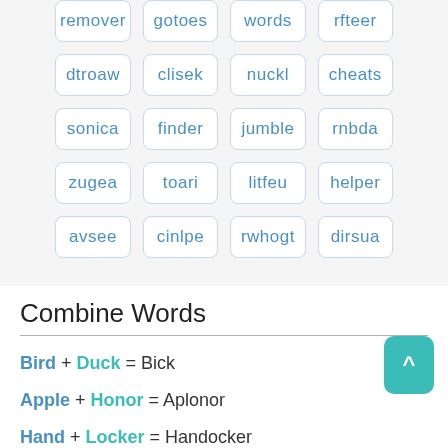remover
gotoes
words
rfteer
dtroaw
clisek
nuckl
cheats
sonica
finder
jumble
rnbda
zugea
toari
litfeu
helper
avsee
cinlpe
rwhogt
dirsua
Combine Words
Bird + Duck = Bick
Apple + Honor = Aplonor
Hand + Locker = Handocker